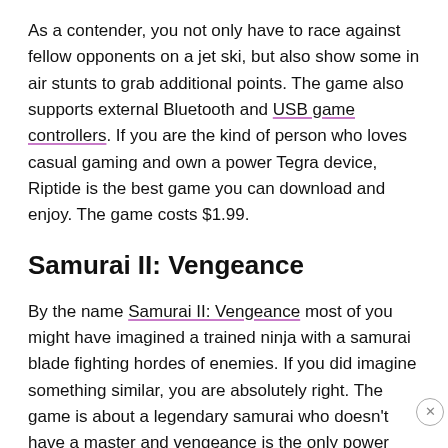As a contender, you not only have to race against fellow opponents on a jet ski, but also show some in air stunts to grab additional points. The game also supports external Bluetooth and USB game controllers. If you are the kind of person who loves casual gaming and own a power Tegra device, Riptide is the best game you can download and enjoy. The game costs $1.99.
Samurai II: Vengeance
By the name Samurai II: Vengeance most of you might have imagined a trained ninja with a samurai blade fighting hordes of enemies. If you did imagine something similar, you are absolutely right. The game is about a legendary samurai who doesn't have a master and vengeance is the only power that's driving him and his blades.